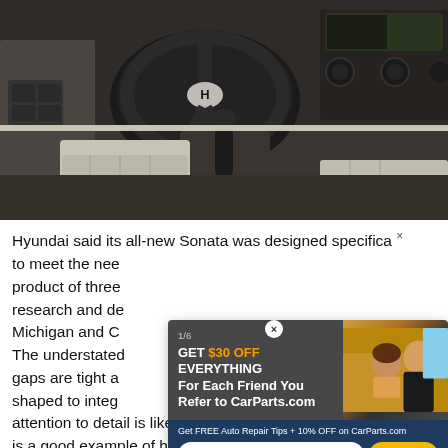[Figure (photo): Interior photo of a Hyundai Sonata showing the dashboard, steering wheel with Hyundai logo, front seats with beige/cream leather upholstery, center console with gear shift, and infotainment/climate controls.]
Hyundai said its all-new Sonata was designed specifica to meet the nee product of three research and de Michigan and C The understated gaps are tight a shaped to integ attention to detail is like that of some German cars, and it is a good example of how Hyundai is moving the bar for
[Figure (infographic): Advertisement overlay for CarParts.com. Shows '1/6' badge, headline 'GET $30 OFF EVERYTHING For Each Friend You Refer to CarParts.com', photo of two people in a car, navy blue bottom section with 'Get FREE Auto Repair Tips + 10% OFF on CarParts.com', email address input field, and a yellow 'Sign Up' button.]